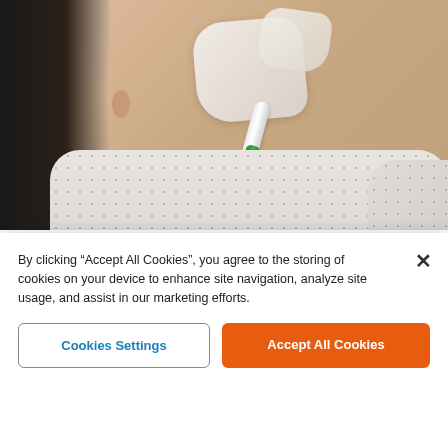[Figure (photo): Woman applying a white clay or skin mask to her nose using a green and white brush. She wears a white dotted shirt and has long dark hair. The image appears to be a video thumbnail for a skin care/mole removal article.]
Getting Rid of Moles & Skin Tags Has Never Been So Simple
Mole & Skin Tag Removal
By clicking “Accept All Cookies”, you agree to the storing of cookies on your device to enhance site navigation, analyze site usage, and assist in our marketing efforts.
Cookies Settings
Accept All Cookies